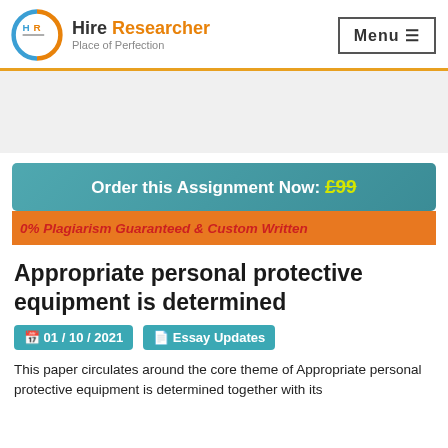Hire Researcher — Place of Perfection
[Figure (logo): Hire Researcher logo with circular HR icon in blue and orange]
Order this Assignment Now: £99
0% Plagiarism Guaranteed & Custom Written
Appropriate personal protective equipment is determined
01 / 10 / 2021
Essay Updates
This paper circulates around the core theme of Appropriate personal protective equipment is determined together with its